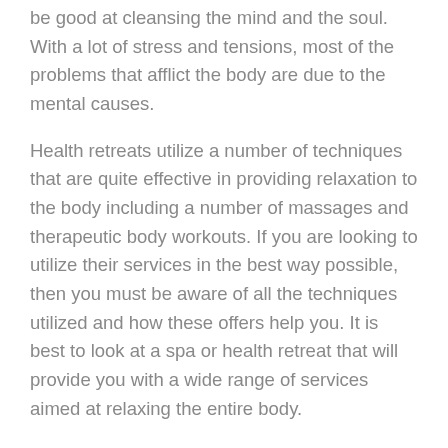be good at cleansing the mind and the soul. With a lot of stress and tensions, most of the problems that afflict the body are due to the mental causes.
Health retreats utilize a number of techniques that are quite effective in providing relaxation to the body including a number of massages and therapeutic body workouts. If you are looking to utilize their services in the best way possible, then you must be aware of all the techniques utilized and how these offers help you. It is best to look at a spa or health retreat that will provide you with a wide range of services aimed at relaxing the entire body.
According to the services that are provided by them, these health retreats come under a variety of categories but the main aim of theirs is the same, that is to improve the health of the individual. These categories include –